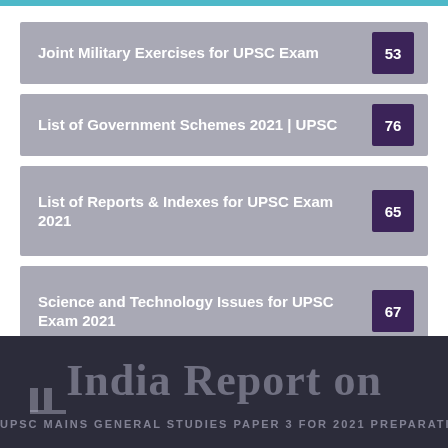Joint Military Exercises for UPSC Exam   53
List of Government Schemes 2021 | UPSC   76
List of Reports & Indexes for UPSC Exam 2021   65
Science and Technology Issues for UPSC Exam 2021   67
India Report on
UPSC MAINS GENERAL STUDIES PAPER 3 FOR 2021 PREPARATION